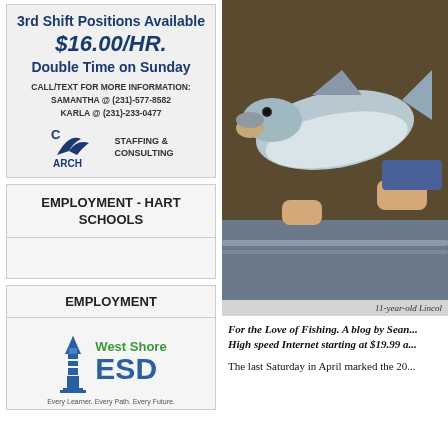[Figure (infographic): ARCH Staffing & Consulting advertisement: 3rd Shift Positions Available, $16.00/HR., Double Time on Sunday, contact info for Samantha and Karla]
EMPLOYMENT - HART SCHOOLS
EMPLOYMENT
[Figure (logo): West Shore ESD logo with lighthouse and tagline: Every Learner. Every Path. Every Future.]
[Figure (photo): Photo of a person holding a large fish (steelhead/salmon) on a boat]
11-year-old Lincol
For the Love of Fishing. A blog by Sean... High speed Internet starting at $19.99 a...
The last Saturday in April marked the 20...